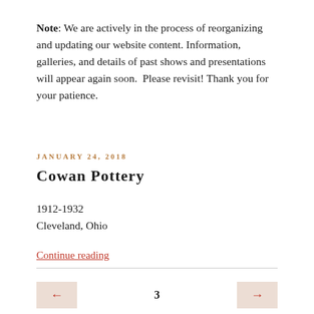Note: We are actively in the process of reorganizing and updating our website content. Information, galleries, and details of past shows and presentations will appear again soon.  Please revisit! Thank you for your patience.
JANUARY 24, 2018
Cowan Pottery
1912-1932
Cleveland, Ohio
Continue reading
← 3 →